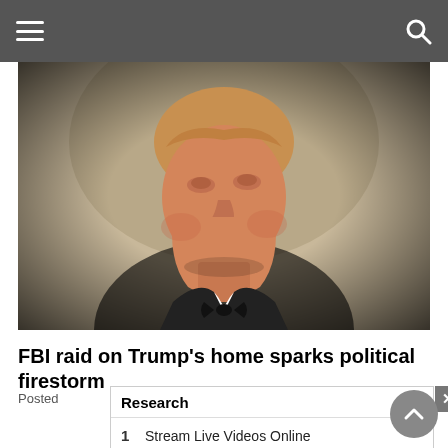Navigation bar with hamburger menu and search icon
[Figure (photo): Close-up photograph of Donald Trump in a black tuxedo, mouth slightly open, looking upward, against a warm beige/tan background with a dark vignette]
FBI raid on Trump's home sparks political firestorm
Posted [date obscured]
Research
1  Stream Live Videos Online
2  Live TV Coverage
Yahoo! Search | Sponsored